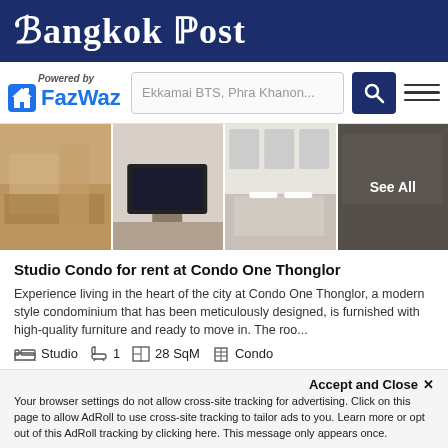Bangkok Post
[Figure (logo): FazWaz logo with house icon and 'Powered by' text in blue]
Ekkamai BTS, Phra Khanon...
[Figure (photo): Four property photos of Studio Condo interior with last photo overlaid with See All]
Studio Condo for rent at Condo One Thonglor
Experience living in the heart of the city at Condo One Thonglor, a modern style condominium that has been meticulously designed, is furnished with high-quality furniture and ready to move in. The roo...
Studio  1  28 SqM  Condo
BTS 0.4 km  MRT 3.03 km  ARL 4.42 km  Year Built 2008  City View
Request Details
Schedule Viewing
Accept and Close ✕
Your browser settings do not allow cross-site tracking for advertising. Click on this page to allow AdRoll to use cross-site tracking to tailor ads to you. Learn more or opt out of this AdRoll tracking by clicking here. This message only appears once.